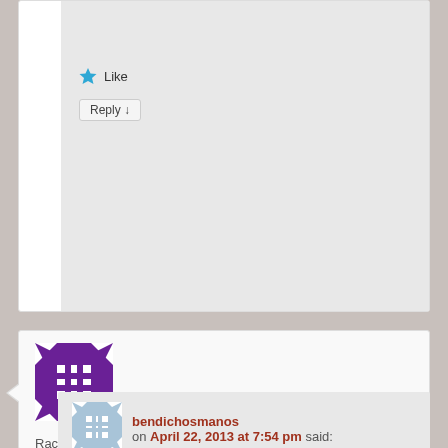[Figure (other): Like button with blue star icon in top comment (partial view)]
Reply ↓
[Figure (other): Purple geometric avatar for user Rachel]
Rachel on April 22, 2013 at 7:43 pm said:
This is absolutely my favorite Sephardic dessert
[Figure (other): Like button with blue star icon in Rachel's comment]
Reply ↓
[Figure (other): Blue/white geometric avatar for user bendichosmanos]
bendichosmanos on April 22, 2013 at 7:54 pm said: